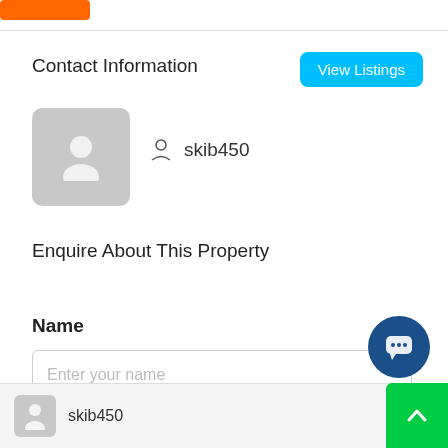[Figure (other): Orange button/bar at top left]
Contact Information
View Listings
[Figure (photo): Gray avatar placeholder box with white person icon]
skib450
Enquire About This Property
Name
Enter your name
[Figure (other): Dark blue circular chat bubble button]
[Figure (other): Gray avatar placeholder at bottom bar]
skib450
[Figure (other): Green scroll-to-top button with up arrow]